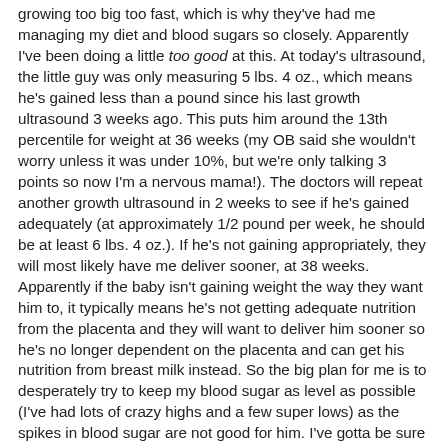growing too big too fast, which is why they've had me managing my diet and blood sugars so closely. Apparently I've been doing a little too good at this. At today's ultrasound, the little guy was only measuring 5 lbs. 4 oz., which means he's gained less than a pound since his last growth ultrasound 3 weeks ago. This puts him around the 13th percentile for weight at 36 weeks (my OB said she wouldn't worry unless it was under 10%, but we're only talking 3 points so now I'm a nervous mama!). The doctors will repeat another growth ultrasound in 2 weeks to see if he's gained adequately (at approximately 1/2 pound per week, he should be at least 6 lbs. 4 oz.). If he's not gaining appropriately, they will most likely have me deliver sooner, at 38 weeks. Apparently if the baby isn't gaining weight the way they want him to, it typically means he's not getting adequate nutrition from the placenta and they will want to deliver him sooner so he's no longer dependent on the placenta and can get his nutrition from breast milk instead. So the big plan for me is to desperately try to keep my blood sugar as level as possible (I've had lots of crazy highs and a few super lows) as the spikes in blood sugar are not good for him. I've gotta be sure to keep up the protein and limit the carbs & sugars, and just